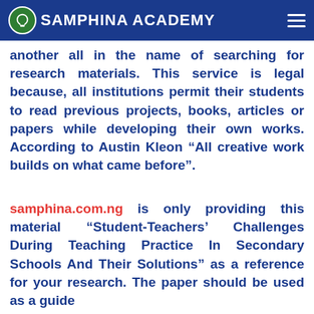SAMPHINA ACADEMY
another all in the name of searching for research materials. This service is legal because, all institutions permit their students to read previous projects, books, articles or papers while developing their own works. According to Austin Kleon “All creative work builds on what came before”.
samphina.com.ng is only providing this material “Student-Teachers’ Challenges During Teaching Practice In Secondary Schools And Their Solutions” as a reference for your research. The paper should be used as a guide